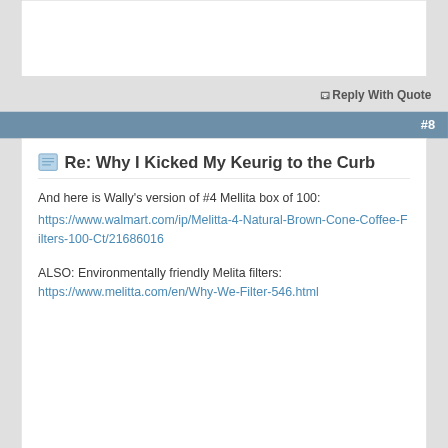Reply With Quote
#8
Re: Why I Kicked My Keurig to the Curb
And here is Wally's version of #4 Mellita box of 100:
https://www.walmart.com/ip/Melitta-4-Natural-Brown-Cone-Coffee-Filters-100-Ct/21686016
ALSO: Environmentally friendly Melita filters:
https://www.melitta.com/en/Why-We-Filter-546.html
Last edited by grulla; 06-12-22 at 09:55 AM.
Reply With Quote
#9
Re: Why I Kicked My Keurig to the Curb